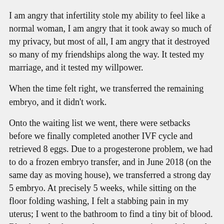I am angry that infertility stole my ability to feel like a normal woman, I am angry that it took away so much of my privacy, but most of all, I am angry that it destroyed so many of my friendships along the way. It tested my marriage, and it tested my willpower.
When the time felt right, we transferred the remaining embryo, and it didn't work.
Onto the waiting list we went, there were setbacks before we finally completed another IVF cycle and retrieved 8 eggs. Due to a progesterone problem, we had to do a frozen embryo transfer, and in June 2018 (on the same day as moving house), we transferred a strong day 5 embryo. At precisely 5 weeks, while sitting on the floor folding washing, I felt a stabbing pain in my uterus; I went to the bathroom to find a tiny bit of blood. Blood results the next day were reassuring and showed my levels were rising nicely. So excited to complete our family with the baby growing inside me, we went on holiday with family to Rarotonga at 7 weeks. I spent time in hospital while in Rarotonga but still didn't think anything was wrong. I headed home, and a couple of days